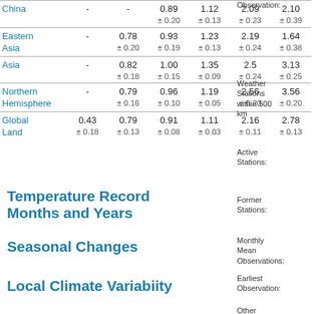| Region | Col1 | Col2 | Col3 | Col4 | Col5 | Col6 |
| --- | --- | --- | --- | --- | --- | --- |
| China | - | - | 0.89
±0.20 | 1.12
±0.13 | 2.09
±0.23 | 2.10
±0.39 |
| Eastern Asia | - | 0.78
±0.20 | 0.93
±0.19 | 1.23
±0.13 | 2.19
±0.24 | 1.64
±0.38 |
| Asia | - | 0.82
±0.18 | 1.00
±0.15 | 1.35
±0.09 | 2.5
±0.24 | 3.13
±0.25 |
| Northern Hemisphere | - | 0.79
±0.16 | 0.96
±0.10 | 1.19
±0.05 | 2.56
±0.20 | 3.56
±0.20 |
| Global Land | 0.43
±0.18 | 0.79
±0.13 | 0.91
±0.08 | 1.11
±0.03 | 2.16
±0.11 | 2.78
±0.13 |
Temperature Record Months and Years
Seasonal Changes
Local Climate Variabiity
Observation:
Weather Stations within 500 km
Active Stations:
Former Stations:
Monthly Mean Observations:
Earliest Observation:
Other Nearby